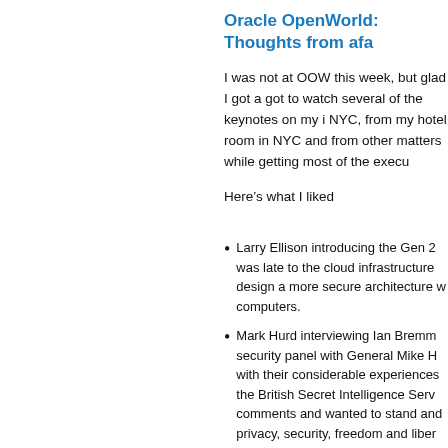Oracle OpenWorld: Thoughts from afa
I was not at OOW this week, but glad I got a got to watch several of the keynotes on my i NYC, from my hotel room in NYC and from other matters while getting most of the execu
Here’s what I liked
Larry Ellison introducing the Gen 2 was late to the cloud infrastructure design a more secure architecture w computers.
Mark Hurd interviewing Ian Bremm security panel with General Mike H with their considerable experiences the British Secret Intelligence Serv comments and wanted to stand and privacy, security, freedom and liber
Mark’s humor in his “analyst” pred T&E policy as he demoed the new below) it found in his restaurant lin have happened when I was CEO!”
Steve had promised customers o